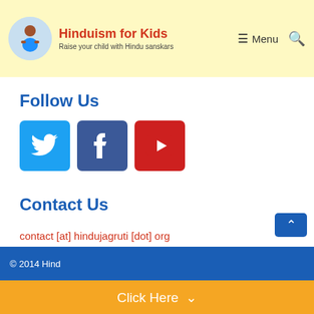Hinduism for Kids — Raise your child with Hindu sanskars
Follow Us
[Figure (infographic): Three social media icon buttons: Twitter (blue bird icon), Facebook (dark blue f icon), YouTube (red play button icon)]
Contact Us
contact [at] hindujagruti [dot] org
© 2014 Hind...
Click Here